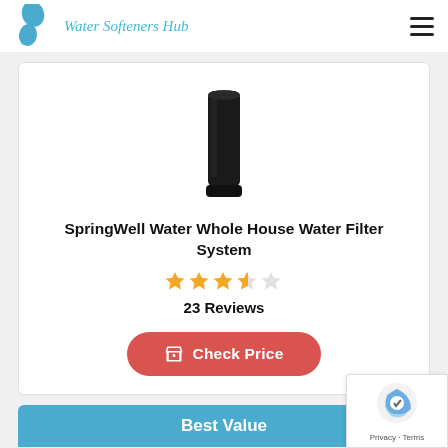Water Softeners Hub
[Figure (photo): Black cylindrical water filter system product photo]
SpringWell Water Whole House Water Filter System
[Figure (other): Star rating: 3.5 out of 5 stars]
23 Reviews
Check Price
Best Value